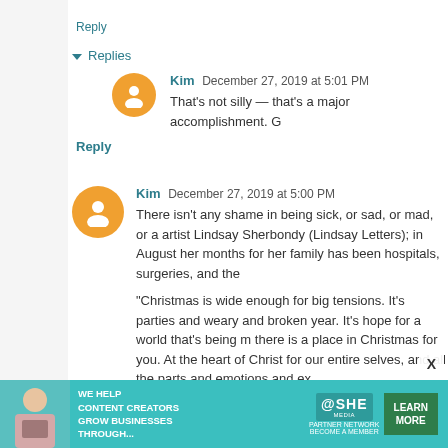Reply
▾ Replies
Kim December 27, 2019 at 5:01 PM
That's not silly — that's a major accomplishment. G
Reply
Kim December 27, 2019 at 5:00 PM
There isn't any shame in being sick, or sad, or mad, or a artist Lindsay Sherbondy (Lindsay Letters); in August her months for her family has been hospitals, surgeries, and the
“Christmas is wide enough for big tensions. It’s parties and weary and broken year. It’s hope for a world that’s being m there is a place in Christmas for you. At the heart of Christ for our entire selves, and all the parts and emotions and ex
My Christmas certainly wasn’t perfect, but that helped me written that out to put in my box of Christmas decora you <3
[Figure (infographic): SHE Media Partner Network advertisement banner with woman photo, text 'WE HELP CONTENT CREATORS GROW BUSINESSES THROUGH...', SHE logo, and LEARN MORE button]